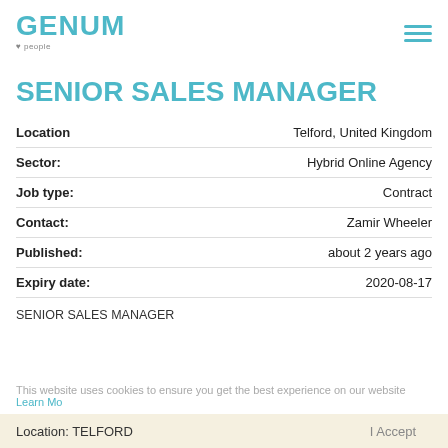GENUM
SENIOR SALES MANAGER
| Field | Value |
| --- | --- |
| Location | Telford, United Kingdom |
| Sector: | Hybrid Online Agency |
| Job type: | Contract |
| Contact: | Zamir Wheeler |
| Published: | about 2 years ago |
| Expiry date: | 2020-08-17 |
SENIOR SALES MANAGER
This website uses cookies to ensure you get the best experience on our website Learn Mo
Location: TELFORD | Accept